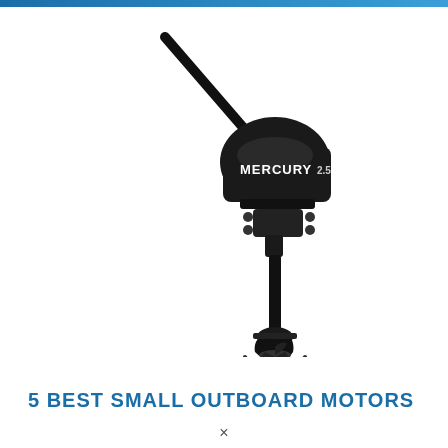[Figure (photo): A Mercury brand small outboard motor (2.5 HP) shown in full against a white background. The motor is black, with the brand name MERCURY visible on the cowling. The tiller handle extends diagonally upward. The lower unit with propeller is visible at the bottom.]
5 BEST SMALL OUTBOARD MOTORS